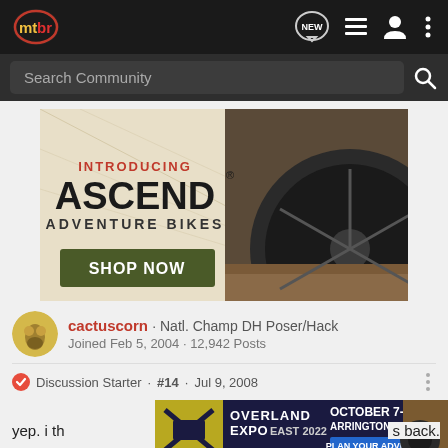mtbr - navigation bar with logo and icons
Search Community
[Figure (infographic): Advertisement banner: INTRODUCING ASCEND ADVENTURE BIKES - SHOP NOW, with image of mountain bike tire on trail]
cactuscorn · Natl. Champ DH Poser/Hack
Joined Feb 5, 2004 · 12,942 Posts
Discussion Starter · #14 · Jul 9, 2008
yep. i th...s back.
[Figure (infographic): Advertisement banner: OVERLAND EXPO EAST 2022 - OCTOBER 7-9 ARRINGTON, VA - PLAN YOUR ADVENTURE]